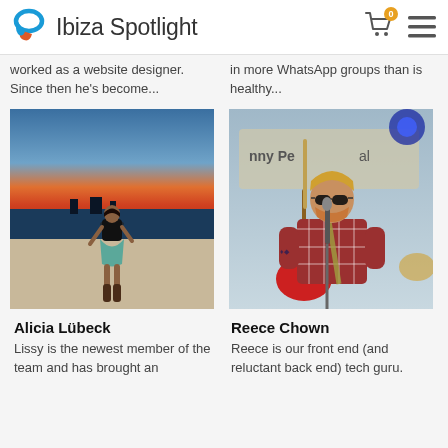Ibiza Spotlight
worked as a website designer. Since then he's become...
in more WhatsApp groups than is healthy...
[Figure (photo): Woman in black top, teal skirt and brown boots posing in front of a sunset skyline]
Alicia Lübeck
Lissy is the newest member of the team and has brought an
[Figure (photo): Young man with sunglasses singing into a microphone on stage, holding a red guitar, wearing a plaid shirt]
Reece Chown
Reece is our front end (and reluctant back end) tech guru.